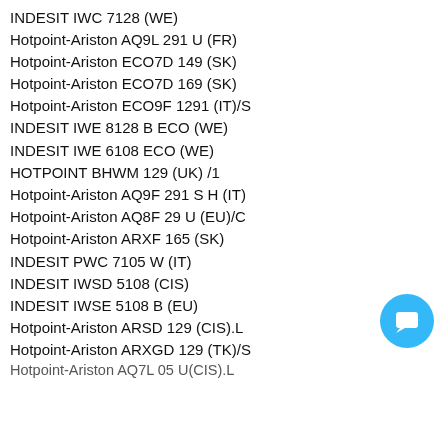INDESIT IWC 7128 (WE)
Hotpoint-Ariston AQ9L 291 U (FR)
Hotpoint-Ariston ECO7D 149 (SK)
Hotpoint-Ariston ECO7D 169 (SK)
Hotpoint-Ariston ECO9F 1291 (IT)/S
INDESIT IWE 8128 B ECO (WE)
INDESIT IWE 6108 ECO (WE)
HOTPOINT BHWM 129 (UK) /1
Hotpoint-Ariston AQ9F 291 S H (IT)
Hotpoint-Ariston AQ8F 29 U (EU)/C
Hotpoint-Ariston ARXF 165 (SK)
INDESIT PWC 7105 W (IT)
INDESIT IWSD 5108 (CIS)
INDESIT IWSE 5108 B (EU)
Hotpoint-Ariston ARSD 129 (CIS).L
Hotpoint-Ariston ARXGD 129 (TK)/S
Hotpoint-Ariston AQLF8F 292 U (EU)
INDESIT IWC 7105 ECO (EE)
INDESIT IWSE 6108 ECO (EE)
INDESIT IWD 7125 ECO (EE)
INDESIT IWD 7108 ECO (EE)
INDESIT IWSE 5128 ECO (EE)
Hotpoint-Ariston AQ7D 29 U (CIS).L
Hotpoint-Ariston AQ7L 05 U(CIS).L
Войти  Регистрация  Связь с менеджером  Поиск  Корзина